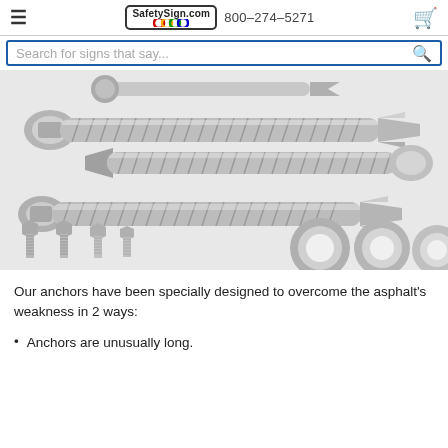SafetySign.com  800-274-5271
Search for signs that say...
[Figure (photo): Product photo showing multiple stainless steel wedge anchor bolts with threaded shafts and expansion clips, plus four hex-head machine screws and three flat washers arranged on a white background.]
Our anchors have been specially designed to overcome the asphalt's weakness in 2 ways:
Anchors are unusually long.